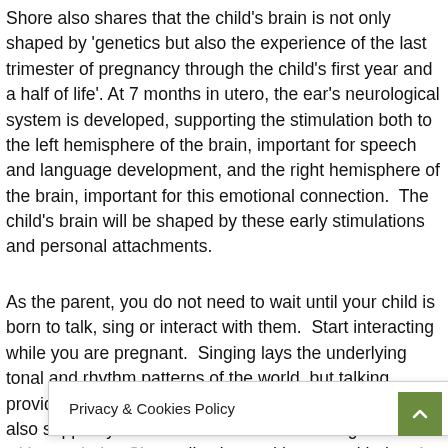Shore also shares that the child's brain is not only shaped by 'genetics but also the experience of the last trimester of pregnancy through the child's first year and a half of life'. At 7 months in utero, the ear's neurological system is developed, supporting the stimulation both to the left hemisphere of the brain, important for speech and language development, and the right hemisphere of the brain, important for this emotional connection.  The child's brain will be shaped by these early stimulations and personal attachments.
As the parent, you do not need to wait until your child is born to talk, sing or interact with them.  Start interacting while you are pregnant.  Singing lays the underlying tonal and rhythm patterns of the world, but talking provides the smaller, subtler sound changes that can also support your child's emotional well-being. Have fun with your baby. Chat, talk, sing and interact with them!
Privacy & Cookies Policy